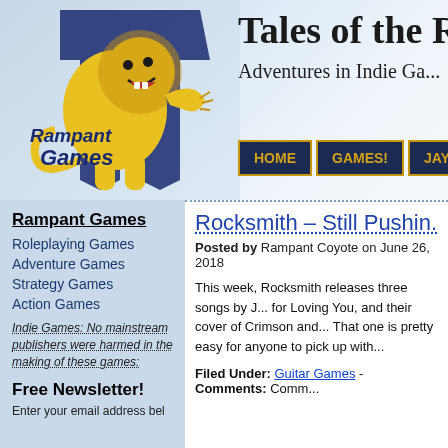[Figure (logo): Rampant Games logo with yellow lion on blue background and text 'Rampant Games']
Tales of the Ra...
Adventures in Indie Ga...
HOME | GAMES! | JAY'S T...
Rampant Games
Roleplaying Games
Adventure Games
Strategy Games
Action Games
Indie Games: No mainstream publishers were harmed in the making of these games:
Free Newsletter!
Enter your email address bel
Rocksmith – Still Pushin...
Posted by Rampant Coyote on June 26, 2018
This week, Rocksmith releases three songs by J... for Loving You, and their cover of Crimson and... That one is pretty easy for anyone to pick up with...
Filed Under: Guitar Games - Comments: Comm...